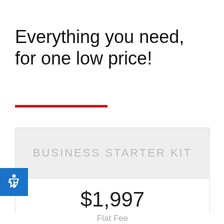Everything you need, for one low price!
$1,997
Flat Fee
BUSINESS STARTER KIT